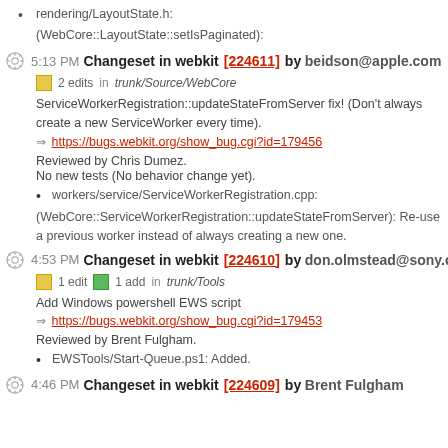rendering/LayoutState.h:
(WebCore::LayoutState::setIsPaginated):
5:13 PM Changeset in webkit [224611] by beidson@apple.com
2 edits in trunk/Source/WebCore
ServiceWorkerRegistration::updateStateFromServer fix! (Don't always create a new ServiceWorker every time).
https://bugs.webkit.org/show_bug.cgi?id=179456
Reviewed by Chris Dumez.
No new tests (No behavior change yet).
workers/service/ServiceWorkerRegistration.cpp:
(WebCore::ServiceWorkerRegistration::updateStateFromServer): Re-use a previous worker instead of always creating a new one.
4:53 PM Changeset in webkit [224610] by don.olmstead@sony.com
1 edit  1 add in trunk/Tools
Add Windows powershell EWS script
https://bugs.webkit.org/show_bug.cgi?id=179453
Reviewed by Brent Fulgham.
EWSTools/Start-Queue.ps1: Added.
4:46 PM Changeset in webkit [224609] by Brent Fulgham